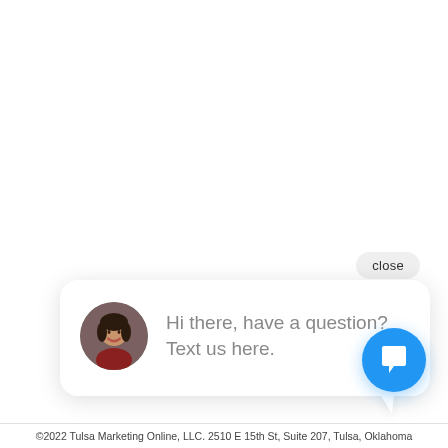close
[Figure (illustration): Chat widget bubble with a circular avatar photo of a woman and text: Hi there, have a question? Text us here.]
Hi there, have a question? Text us here.
[Figure (illustration): Blue circular floating action button with a speech bubble / chat icon in white]
©2022 Tulsa Marketing Online, LLC. 2510 E 15th St, Suite 207, Tulsa, Oklahoma